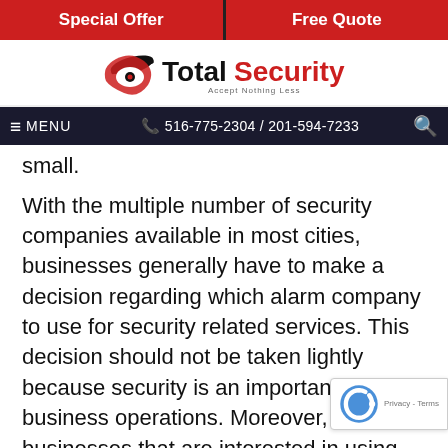Special Offer | Free Quote
[Figure (logo): Total Security logo with eye icon and tagline 'Accept Nothing Less']
MENU | 516-775-2304 / 201-594-7233
small.
With the multiple number of security companies available in most cities, businesses generally have to make a decision regarding which alarm company to use for security related services. This decision should not be taken lightly because security is an important part of business operations. Moreover, businesses that are interested in using an alarm company for security services in Manhattan ca... alarm companies by a variety of methods, wh... include: